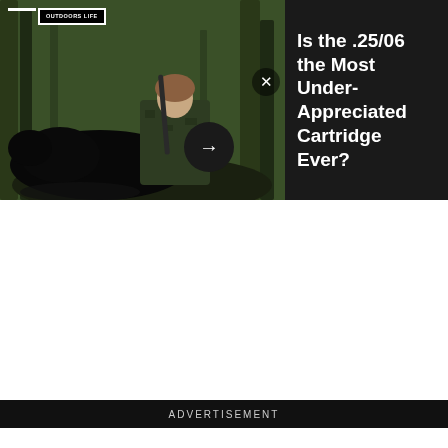[Figure (photo): Hunting photo showing a woman in camouflage kneeling behind a large black bear she has harvested, holding a rifle, in a wooded outdoor setting. Outdoors Life logo in top left. Close (X) button overlay. Arrow navigation button.]
Is the .25/06 the Most Under-Appreciated Cartridge Ever?
ADVERTISEMENT
[Figure (advertisement): Yellow background advertisement featuring a duck illustration (Remington hunting brand style) with a VS circle in the center and a Remington ammunition box in the lower half.]
[Figure (advertisement): Amazon Music banner advertisement with gradient purple-blue background reading 'amazon music PODCASTS NOW STREAMING']